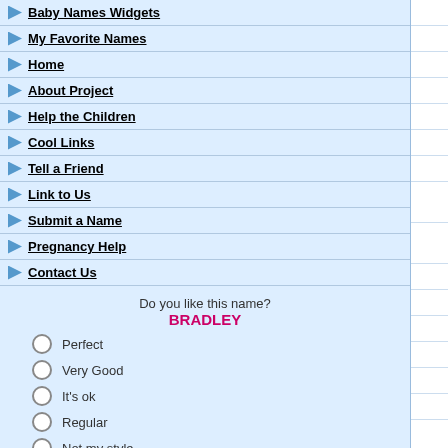Baby Names Widgets
My Favorite Names
Home
About Project
Help the Children
Cool Links
Tell a Friend
Link to Us
Submit a Name
Pregnancy Help
Contact Us
Do you like this name? BRADLEY
Perfect
Very Good
It's ok
Regular
Not my style
|  | Name | Origin | Meaning |
| --- | --- | --- | --- |
|  | Shany | Swahili | marvelou... |
|  | Shanyce | American | a form of... |
|  | Shappa | Native Ame.. | See Chap... |
|  | Shara | Hebrew | a short fo... |
|  | Sharai | Hebrew | princess... |
|  | Sharan | Hindi | protector... |
|  | Sharda | Arabic | a form of... |
|  | Shardae | Arabic | runaway... Chardae |
|  | Sharday | Arabic | runaway... Chardae |
|  | Sharee | English | a form of... |
|  | Sharen | English | a form of... |
|  | Shari | French | beloved,d... |
|  | Shari | Hungarian | a form of... |
|  | Shariah | French | a form of... |
|  | Shariah | Hungarian | a form of... |
|  | Shariann | English | a combin... Ann |
|  | Sharianne | English | a combin... Ann |
|  | Sharice | French | a form of... |
|  | Sharifa | African | "distingu... Sharifa M... |